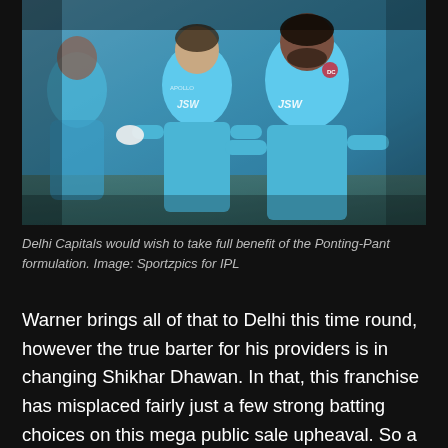[Figure (photo): Two cricket players in light blue Delhi Capitals jerseys (JSW sponsor) standing on a field, one facing away and one facing forward with hands on hips. A third player in blue is partially visible at the left edge.]
Delhi Capitals would wish to take full benefit of the Ponting-Pant formulation. Image: Sportzpics for IPL
Warner brings all of that to Delhi this time round, however the true barter for his providers is in changing Shikhar Dhawan. In that, this franchise has misplaced fairly just a few strong batting choices on this mega public sale upheaval. So a lot so, the batting order out there to them bears a totally completely different look altogether. Dhawan's constant runs on the high, Shreyas Iyer's